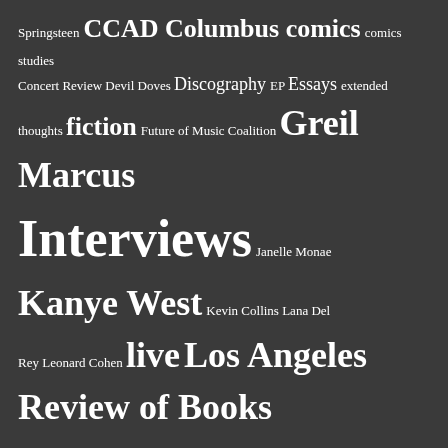[Figure (other): A tag cloud / word cloud on a dark gray background. Words appear in varying sizes indicating their frequency or importance. Tags include: Springsteen, CCAD, Columbus, comics, comics studies, Concert Review, Devil Doves, Discography, EP, Essays, extended thoughts, fiction, Future of Music Coalition, Greil Marcus, Interviews, Janelle Monae, Kanye West, Kevin Collins, Lana Del Rey, Leonard Cohen, live, Los Angeles Review of Books, Mingo Town Music, Music, Music Criticism, Neil Young, Net Neutrality, News, Nothing Has Been Done Before, One-Song Reviews, Playlists, Politics, PopMatters, poptimism, Prince, Prince from Minneapolis, Prologue]